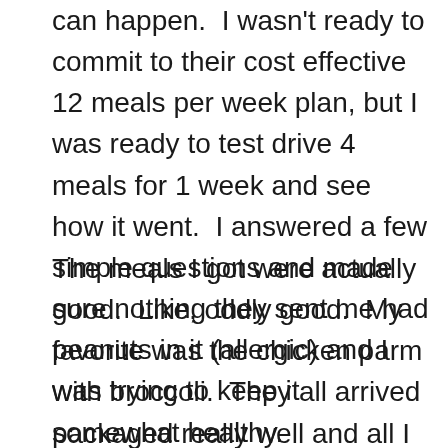can happen.  I wasn't ready to commit to their cost effective 12 meals per week plan, but I was ready to test drive 4 meals for 1 week and see how it went.  I answered a few simple questions and made sure nothing they sent me had peanuts in it (allergic) and I was trying to keep it somewhat healthy.
The meals I got were actually good.  Like, oddly good.  My favorite was the chicken parm with broccoli.  They all arrived packaged really well and all I had to do was toss it my microwave for around 3 1/2 minutes.  That's it.  Now, I spent a bit more on these meals than I really wanted, but that was mainly my fault because I chose the least amount of meals possible for the week because I was afraid to commit.  This brought the price per meal to increase